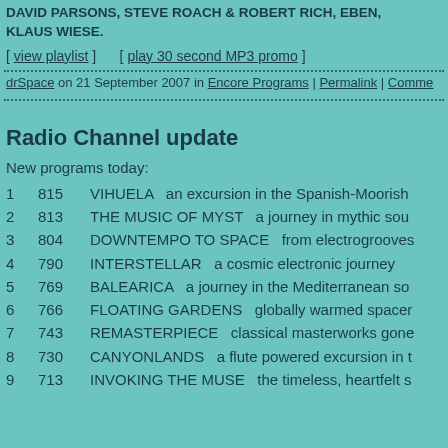DAVID PARSONS, STEVE ROACH & ROBERT RICH, EBEN, KLAUS WIESE.
[ view playlist ]      [ play 30 second MP3 promo ]
drSpace on 21 September 2007 in Encore Programs | Permalink | Comments
Radio Channel update
New programs today:
1   815   VIHUELA   an excursion in the Spanish-Moorish
2   813   THE MUSIC OF MYST   a journey in mythic sou
3   804   DOWNTEMPO TO SPACE   from electrogrooves
4   790   INTERSTELLAR   a cosmic electronic journey
5   769   BALEARICA   a journey in the Mediterranean so
6   766   FLOATING GARDENS   globally warmed spacer
7   743   REMASTERPIECE   classical masterworks gone
8   730   CANYONLANDS   a flute powered excursion in t
9   713   INVOKING THE MUSE   the timeless, heartfelt s